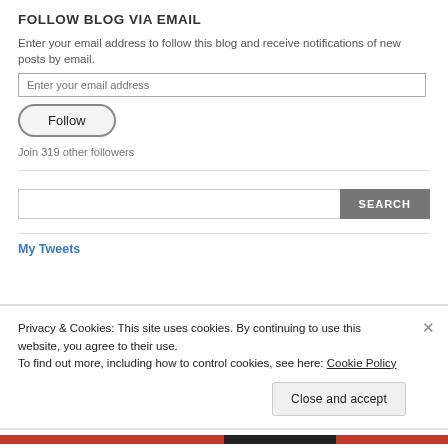FOLLOW BLOG VIA EMAIL
Enter your email address to follow this blog and receive notifications of new posts by email.
Join 319 other followers
Privacy & Cookies: This site uses cookies. By continuing to use this website, you agree to their use.
To find out more, including how to control cookies, see here: Cookie Policy